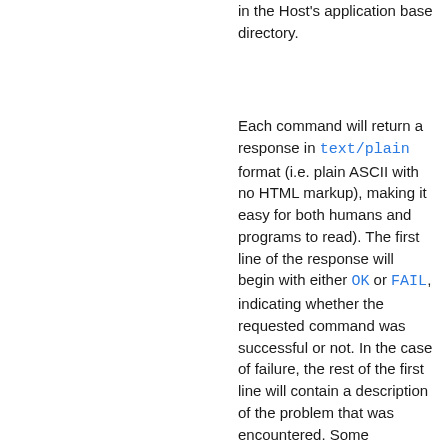in the Host's application base directory.
Each command will return a response in text/plain format (i.e. plain ASCII with no HTML markup), making it easy for both humans and programs to read). The first line of the response will begin with either OK or FAIL, indicating whether the requested command was successful or not. In the case of failure, the rest of the first line will contain a description of the problem that was encountered. Some commands include additional lines of information as described below.